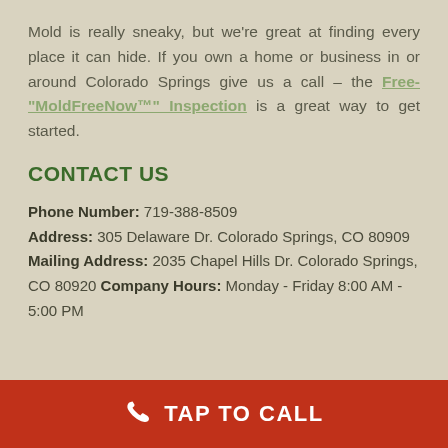Mold is really sneaky, but we're great at finding every place it can hide. If you own a home or business in or around Colorado Springs give us a call – the Free- "MoldFreeNow™" Inspection is a great way to get started.
CONTACT US
Phone Number: 719-388-8509
Address: 305 Delaware Dr. Colorado Springs, CO 80909 Mailing Address: 2035 Chapel Hills Dr. Colorado Springs, CO 80920 Company Hours: Monday - Friday 8:00 AM - 5:00 PM
TAP TO CALL